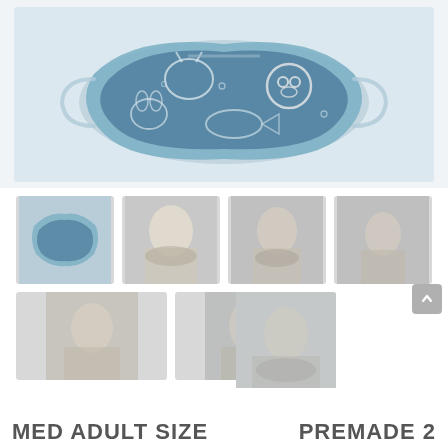[Figure (photo): Large product photo of a fabric face mask with a blue animal-print pattern featuring owls, dogs, cats, and other animals in white outline on dark blue/teal background. Mask is photographed at an angle on white background.]
[Figure (photo): Thumbnail 1: Close-up side view of the blue animal-print face mask showing the ear loops and fabric detail.]
[Figure (photo): Thumbnail 2: Person wearing the face mask — white-haired individual seen from side/profile.]
[Figure (photo): Thumbnail 3: Person wearing the face mask — dark-haired man seen from slight angle.]
[Figure (photo): Thumbnail 4: Person wearing the face mask — person seen from side, mostly showing jaw/neck area.]
[Figure (photo): Thumbnail 5 (row 2, left): Person wearing mask — woman with dark hair facing camera.]
[Figure (photo): Thumbnail 6 (row 2, middle): Person wearing mask — bearded man facing camera.]
[Figure (photo): Thumbnail 7 (row 2, right, taller): Person wearing mask — person facing slightly downward/camera, taller thumbnail.]
MED ADULT SIZE    PREMADE 2